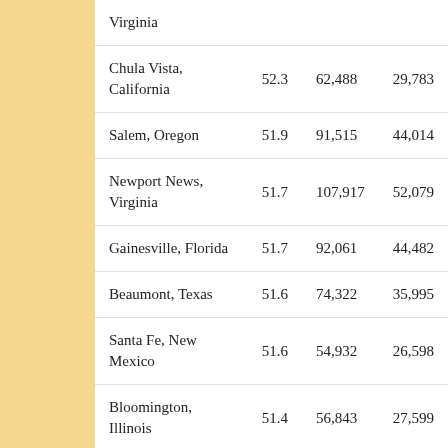| City | Col1 | Col2 | Col3 | Col4 |
| --- | --- | --- | --- | --- |
| Virginia |  |  |  |  |
| Chula Vista, California | 52.3 | 62,488 | 29,783 | 32, |
| Salem, Oregon | 51.9 | 91,515 | 44,014 | 47, |
| Newport News, Virginia | 51.7 | 107,917 | 52,079 | 55, |
| Gainesville, Florida | 51.7 | 92,061 | 44,482 | 47, |
| Beaumont, Texas | 51.6 | 74,322 | 35,995 | 38, |
| Santa Fe, New Mexico | 51.6 | 54,932 | 26,598 | 28, |
| Bloomington, Illinois | 51.4 | 56,843 | 27,599 | 29, |